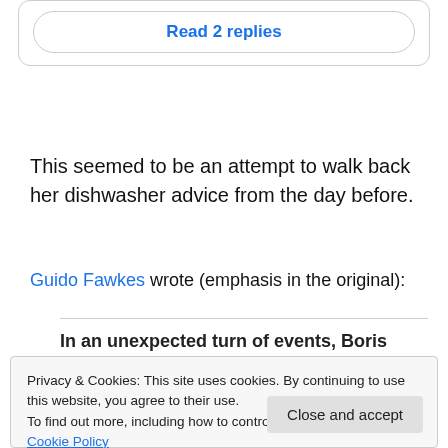Read 2 replies
This seemed to be an attempt to walk back her dishwasher advice from the day before.
Guido Fawkes wrote (emphasis in the original):
In an unexpected turn of events, Boris Johnson's
Privacy & Cookies: This site uses cookies. By continuing to use this website, you agree to their use. To find out more, including how to control cookies, see here: Cookie Policy
Close and accept